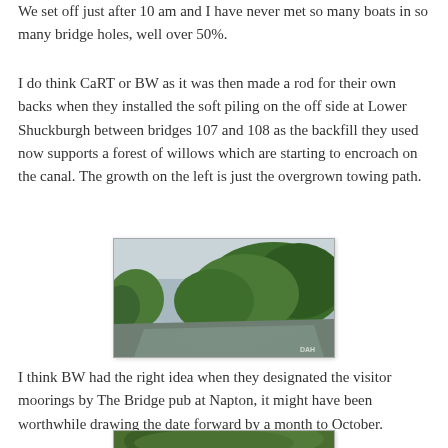We set off just after 10 am and I have never met so many boats in so many bridge holes, well over 50%.
I do think CaRT or BW as it was then made a rod for their own backs when they installed the soft piling on the off side at Lower Shuckburgh between bridges 107 and 108 as the backfill they used now supports a forest of willows which are starting to encroach on the canal. The growth on the left is just the overgrown towing path.
[Figure (photo): Canal scene showing water flanked by dense willow and tree growth on the right bank and overgrown towpath on the left. Watermark 'DAH' visible in lower right corner.]
I think BW had the right idea when they designated the visitor moorings by The Bridge pub at Napton, it might have been worthwhile drawing the date forward by a month to October.
[Figure (photo): Partially visible photo at the bottom of the page showing green vegetation, appears to be another canal-side scene.]